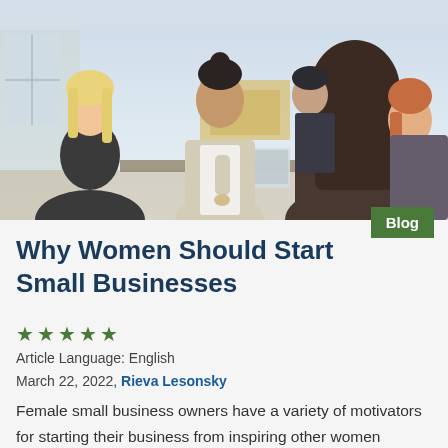[Figure (photo): Business meeting scene with a woman in a blazer presenting/speaking to a group of colleagues in a bright office setting. Multiple people visible including women with blonde and dark hair.]
Why Women Should Start Small Businesses
★★★★★
Article Language: English
March 22, 2022, Rieva Lesonsky
Female small business owners have a variety of motivators for starting their business from inspiring other women entrepreneurs to showing others that it